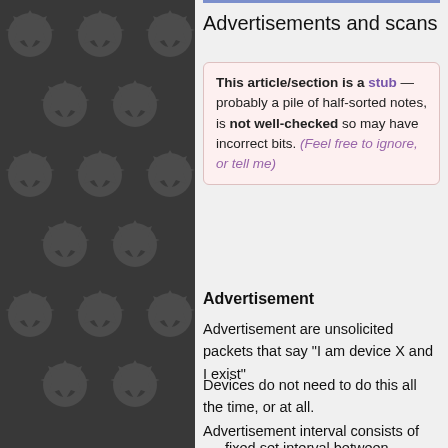[Figure (illustration): Dark background with repeating gear/cog pattern in dark gray on the left panel of the page]
Advertisements and scans
This article/section is a stub — probably a pile of half-sorted notes, is not well-checked so may have incorrect bits. (Feel free to ignore, or tell me)
Advertisement
Advertisement are unsolicited packets that say "I am device X and I exist"
Devices do not need to do this all the time, or at all.
Advertisement interval consists of
fixed set interval between